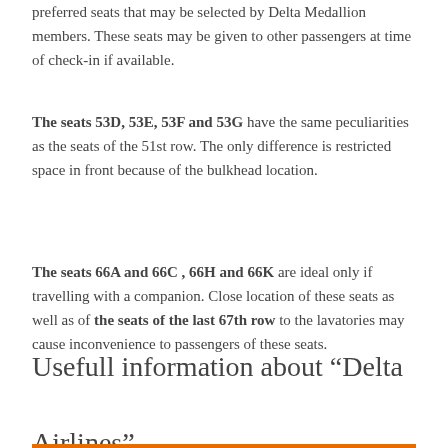preferred seats that may be selected by Delta Medallion members. These seats may be given to other passengers at time of check-in if available.
The seats 53D, 53E, 53F and 53G have the same peculiarities as the seats of the 51st row. The only difference is restricted space in front because of the bulkhead location.
The seats 66A and 66C , 66H and 66K are ideal only if travelling with a companion. Close location of these seats as well as of the seats of the last 67th row to the lavatories may cause inconvenience to passengers of these seats.
Usefull information about “Delta Airlines”